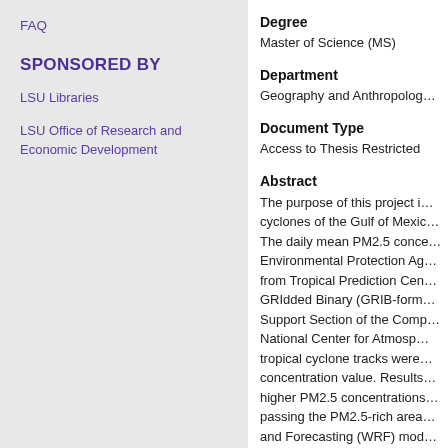FAQ
SPONSORED BY
LSU Libraries
LSU Office of Research and Economic Development
Degree
Master of Science (MS)
Department
Geography and Anthropolog…
Document Type
Access to Thesis Restricted
Abstract
The purpose of this project i… cyclones of the Gulf of Mexic… The daily mean PM2.5 conce… Environmental Protection Ag… from Tropical Prediction Cen… GRIdded Binary (GRIB-form… Support Section of the Comp… National Center for Atmosp… tropical cyclone tracks were… concentration value. Results… higher PM2.5 concentrations… passing the PM2.5-rich area… and Forecasting (WRF) mod… Lili were weakened after pa… little evidence is found for t…